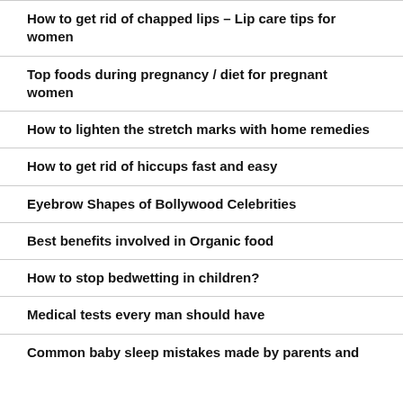How to get rid of chapped lips – Lip care tips for women
Top foods during pregnancy / diet for pregnant women
How to lighten the stretch marks with home remedies
How to get rid of hiccups fast and easy
Eyebrow Shapes of Bollywood Celebrities
Best benefits involved in Organic food
How to stop bedwetting in children?
Medical tests every man should have
Common baby sleep mistakes made by parents and